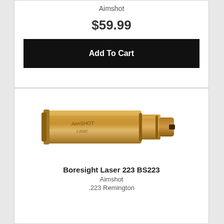Aimshot
$59.99
Add To Cart
[Figure (photo): Brass-colored boresight laser cartridge device, cylindrical shape with engraved Aimshot branding, shown horizontally]
Boresight Laser 223 BS223
Aimshot
.223 Remington